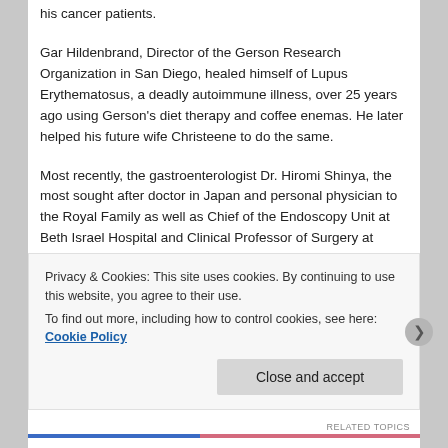his cancer patients.
Gar Hildenbrand, Director of the Gerson Research Organization in San Diego, healed himself of Lupus Erythematosus, a deadly autoimmune illness, over 25 years ago using Gerson's diet therapy and coffee enemas. He later helped his future wife Christeene to do the same.
Most recently, the gastroenterologist Dr. Hiromi Shinya, the most sought after doctor in Japan and personal physician to the Royal Family as well as Chief of the Endoscopy Unit at Beth Israel Hospital and Clinical Professor of Surgery at Albert Einstein College of Medicine in New York, has publicly stated his support for
Privacy & Cookies: This site uses cookies. By continuing to use this website, you agree to their use.
To find out more, including how to control cookies, see here: Cookie Policy